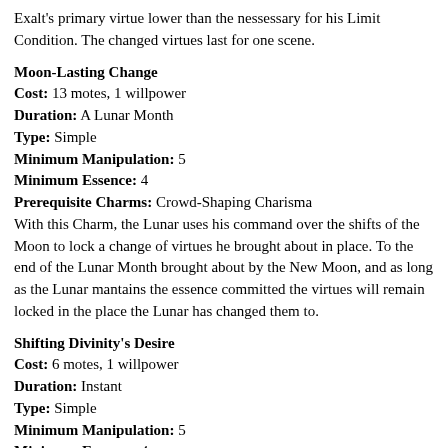Exalt's primary virtue lower than the nessessary for his Limit Condition. The changed virtues last for one scene.
Moon-Lasting Change
Cost: 13 motes, 1 willpower
Duration: A Lunar Month
Type: Simple
Minimum Manipulation: 5
Minimum Essence: 4
Prerequisite Charms: Crowd-Shaping Charisma
With this Charm, the Lunar uses his command over the shifts of the Moon to lock a change of virtues he brought about in place. To the end of the Lunar Month brought about by the New Moon, and as long as the Lunar mantains the essence committed the virtues will remain locked in the place the Lunar has changed them to.
Shifting Divinity's Desire
Cost: 6 motes, 1 willpower
Duration: Instant
Type: Simple
Minimum Manipulation: 5
Minimum Essence: 4
Prerequisite Charms: Moon-Lasting Change
With a kiss and a wink, a tale and a juggle, the Lunar uses his wit to